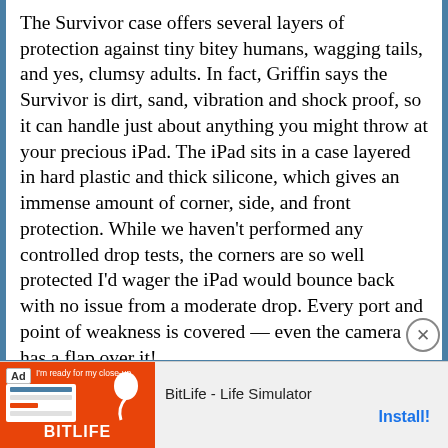The Survivor case offers several layers of protection against tiny bitey humans, wagging tails, and yes, clumsy adults. In fact, Griffin says the Survivor is dirt, sand, vibration and shock proof, so it can handle just about anything you might throw at your precious iPad. The iPad sits in a case layered in hard plastic and thick silicone, which gives an immense amount of corner, side, and front protection. While we haven't performed any controlled drop tests, the corners are so well protected I'd wager the iPad would bounce back with no issue from a moderate drop. Every port and point of weakness is covered — even the camera has a flap over it!
[Figure (screenshot): Advertisement bar at the bottom showing BitLife - Life Simulator app ad with red background, sperm icon logo, app store install button]